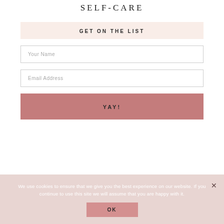SELF-CARE
GET ON THE LIST
Your Name
Email Address
YAY!
We use cookies to ensure that we give you the best experience on our website. If you continue to use this site we will assume that you are happy with it.
OK